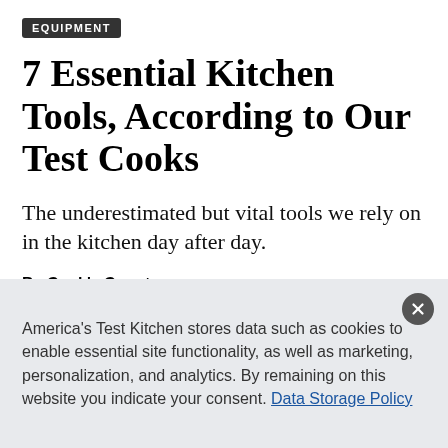EQUIPMENT
7 Essential Kitchen Tools, According to Our Test Cooks
The underestimated but vital tools we rely on in the kitchen day after day.
By Cook's Country
Published Dec. 13, 2019
America's Test Kitchen stores data such as cookies to enable essential site functionality, as well as marketing, personalization, and analytics. By remaining on this website you indicate your consent. Data Storage Policy